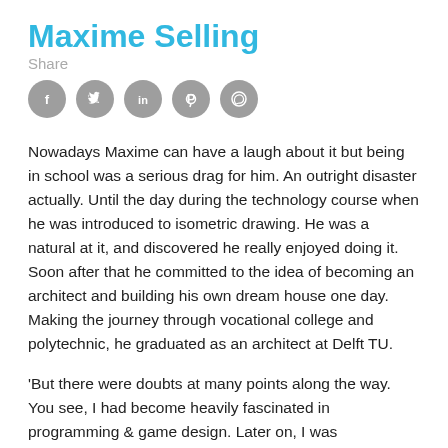Maxime Selling
Share
[Figure (other): Five circular grey social media share icons: Facebook, Twitter, LinkedIn, Pinterest, WhatsApp]
Nowadays Maxime can have a laugh about it but being in school was a serious drag for him. An outright disaster actually. Until the day during the technology course when he was introduced to isometric drawing. He was a natural at it, and discovered he really enjoyed doing it. Soon after that he committed to the idea of becoming an architect and building his own dream house one day. Making the journey through vocational college and polytechnic, he graduated as an architect at Delft TU.
'But there were doubts at many points along the way. You see, I had become heavily fascinated in programming & game design. Later on, I was